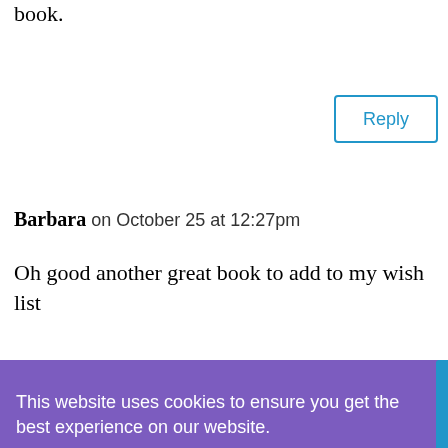book.
Reply
Barbara on October 25 at 12:27pm
Oh good another great book to add to my wish list
This website uses cookies to ensure you get the best experience on our website.
Learn more
Got it
characters